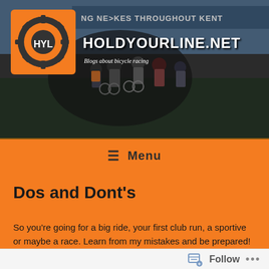[Figure (screenshot): Website header banner for holdyourline.net showing cyclists racing, with orange HYL gear logo on left and site title/tagline on right]
≡ Menu
Dos and Dont's
So you're going for a big ride, your first club run, a sportive or maybe a race. Learn from my mistakes and be prepared!
Dos
Follow ...